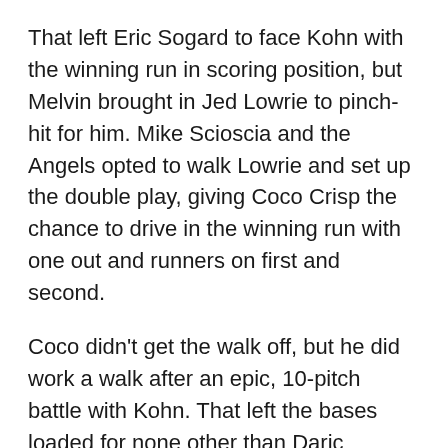That left Eric Sogard to face Kohn with the winning run in scoring position, but Melvin brought in Jed Lowrie to pinch-hit for him. Mike Scioscia and the Angels opted to walk Lowrie and set up the double play, giving Coco Crisp the chance to drive in the winning run with one out and runners on first and second.
Coco didn't get the walk off, but he did work a walk after an epic, 10-pitch battle with Kohn. That left the bases loaded for none other than Daric Barton, who was essentially tasked with getting the ball out of the infield, as the Angels brought Cole Calhoun in from right field to play first base and spread the four original infielders throughout the rest of the diamond. After taking the first pitch up and in, Barton proceeded to take two uncharacteristically huge cuts at pitches, took another ball to push the count to 2-2, and then took: